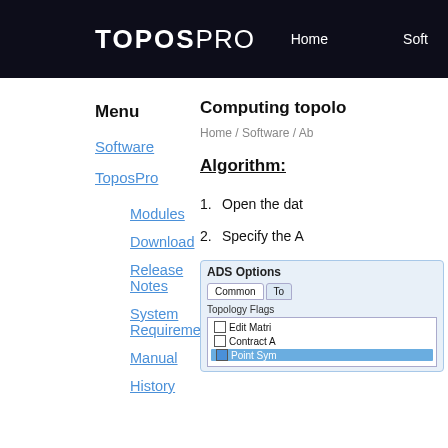TOPOSPRO  Home  Soft
Menu
Software
ToposPro
Modules
Download
Release Notes
System Requirements
Manual
History
Computing topolo
Home / Software / Ab
Algorithm:
1. Open the dat
2. Specify the A
[Figure (screenshot): ADS Options dialog showing Common and To tabs, Topology Flags section with checkboxes: Edit Matri (unchecked), Contract A (unchecked), Point Sym (checked, highlighted blue)]